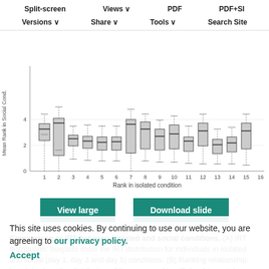Split-screen  Views  PDF  PDF+SI  Versions  Share  Tools  Search Site
[Figure (other): Box plot showing IRT distribution or rank in isolated condition (x-axis 1-16) vs mean rank in social condition (y-axis 0-4+). Multiple boxplots at various ranks showing distributions with whiskers.]
[Figure (other): View large button and Download slide button]
Comparison or IRT between isolated and social conditions. (A) IRT distribution: boxplots show the IRT distribution for individuals in isolated and social (day 1, day 3 and day 5) conditions. (B) Ranking relationship: boxplots show the distribution of the mean ranking (3 days) in social conditions and for each individual ranking in isolated conditions. Each boxplot is composed of eight points, one point
This site uses cookies. By continuing to use our website, you are agreeing to our privacy policy. Accept